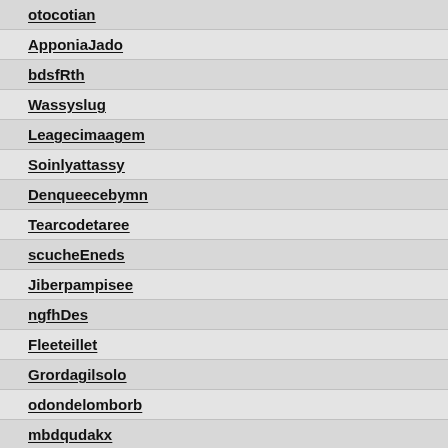otocotian
ApponiaJado
bdsfRth
Wassyslug
Leagecimaagem
Soinlyattassy
Denqueecebymn
Tearcodetaree
scucheEneds
Jiberpampisee
ngfhDes
Fleeteillet
Grordagilsolo
odondelomborb
mbdqudakx
Lockhart
dfgBGd
poijyo
butig6o